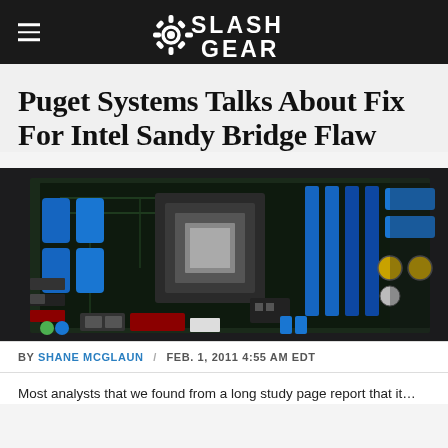SlashGear
Puget Systems Talks About Fix For Intel Sandy Bridge Flaw
[Figure (photo): Close-up photograph of a computer motherboard with blue heatsinks, RAM slots, CPU socket, and various connectors on a dark PCB.]
BY SHANE MCGLAUN / FEB. 1, 2011 4:55 AM EDT
Most analysts that we found from a long study page report that it…